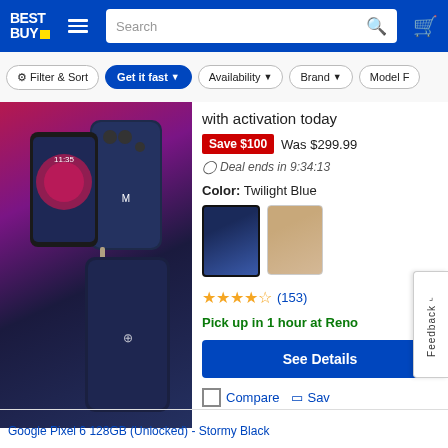Best Buy - Search bar - Cart
Filter & Sort | Get it fast | Availability | Brand | Model F
[Figure (photo): Motorola smartphone product image showing front and back of phone in Twilight Blue color with stylus]
with activation today
Save $100  Was $299.99
Deal ends in 9:34:13
Color: Twilight Blue
(153)
Pick up in 1 hour at Reno
See Details
Compare  Sav
Google Pixel 6 128GB (Unlocked) - Stormy Black